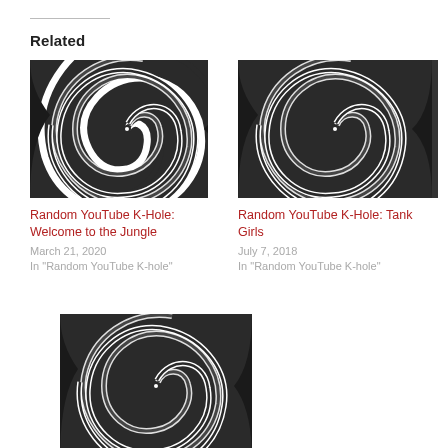Related
[Figure (illustration): Black and white hypnotic spiral image used as thumbnail for 'Random YouTube K-Hole: Welcome to the Jungle']
Random YouTube K-Hole: Welcome to the Jungle
March 21, 2020
In "Random YouTube K-hole"
[Figure (illustration): Black and white hypnotic spiral image used as thumbnail for 'Random YouTube K-Hole: Tank Girls']
Random YouTube K-Hole: Tank Girls
July 7, 2018
In "Random YouTube K-hole"
[Figure (illustration): Black and white hypnotic spiral image used as thumbnail for 'Random YouTube K-Hole: Tears for Fears']
Random YouTube K-Hole: Tears for Fears